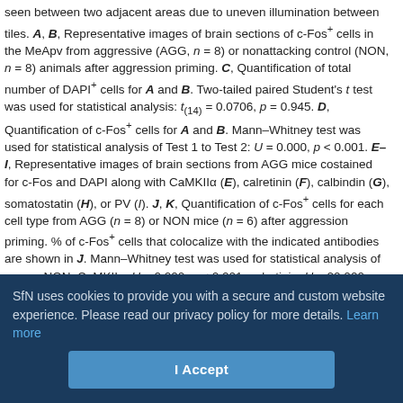seen between two adjacent areas due to uneven illumination between tiles. A, B, Representative images of brain sections of c-Fos⁺ cells in the MeApv from aggressive (AGG, n = 8) or nonattacking control (NON, n = 8) animals after aggression priming. C, Quantification of total number of DAPI⁺ cells for A and B. Two-tailed paired Student's t test was used for statistical analysis: t_(14) = 0.0706, p = 0.945. D, Quantification of c-Fos⁺ cells for A and B. Mann–Whitney test was used for statistical analysis of Test 1 to Test 2: U = 0.000, p < 0.001. E–I, Representative images of brain sections from AGG mice costained for c-Fos and DAPI along with CaMKIIα (E), calretinin (F), calbindin (G), somatostatin (H), or PV (I). J, K, Quantification of c-Fos⁺ cells for each cell type from AGG (n = 8) or NON mice (n = 6) after aggression priming. % of c-Fos⁺ cells that colocalize with the indicated antibodies are shown in J. Mann–Whitney test was used for statistical analysis of versus NON: CaMKIIα, U = 0.000, p < 0.001; calretinin, U = 20.000, p = 0.662; calbindin, t_(11) = 1.291, p = 0.223; somatostatin, t_(10) = 1.453, p = 0.177; PV, U = 14.000, p = 1.000. % of cells positive for each antibody that colocalize with c-Fos are shown in K. Mann–Whitney test was used for statistical analysis of AGG versus NON: CaMKIIα, t_(12) = 2.537, p = 0.0261; calretinin, t_(12) = −0.944, p = 0.364; calbindin, t_(12) = −1.968, p = 0.0727; somatostatin, U = 12.000, p = 0.432; PV, U = 14.000, p = 1.000. L, M, vGlut2⁺ cre-line
SfN uses cookies to provide you with a secure and custom website experience. Please read our privacy policy for more details. Learn more